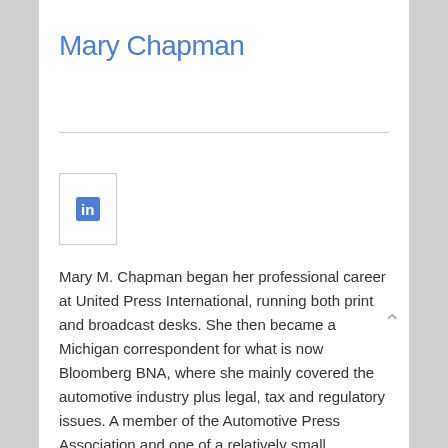Mary Chapman
[Figure (logo): LinkedIn icon — a square box with the LinkedIn 'in' logo in blue]
Mary M. Chapman began her professional career at United Press International, running both print and broadcast desks. She then became a Michigan correspondent for what is now Bloomberg BNA, where she mainly covered the automotive industry plus legal, tax and regulatory issues. A member of the Automotive Press Association and one of a relatively small